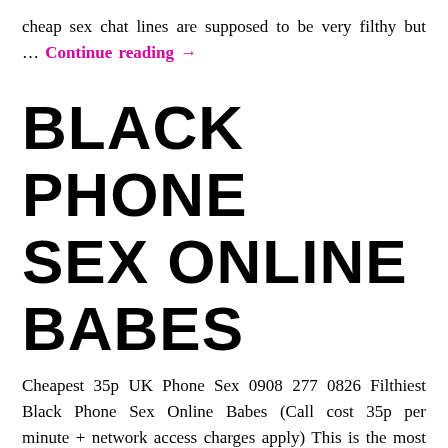cheap sex chat lines are supposed to be very filthy but … Continue reading →
BLACK PHONE SEX ONLINE BABES
Cheapest 35p UK Phone Sex 0908 277 0826 Filthiest Black Phone Sex Online Babes (Call cost 35p per minute + network access charges apply) This is the most hardcore group of sex hungry, cock addicted, spunk loving Black phone sex … Continue reading →